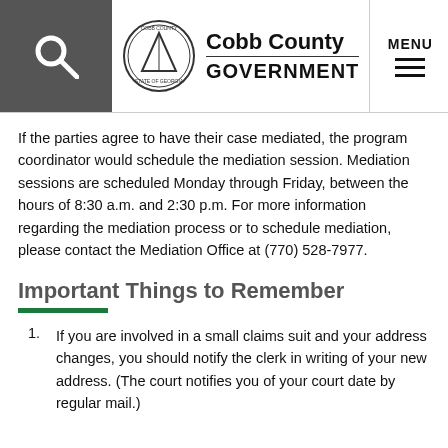Cobb County GOVERNMENT
If the parties agree to have their case mediated, the program coordinator would schedule the mediation session. Mediation sessions are scheduled Monday through Friday, between the hours of 8:30 a.m. and 2:30 p.m. For more information regarding the mediation process or to schedule mediation, please contact the Mediation Office at (770) 528-7977.
Important Things to Remember
If you are involved in a small claims suit and your address changes, you should notify the clerk in writing of your new address. (The court notifies you of your court date by regular mail.)